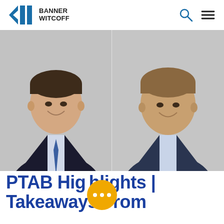BANNER WITCOFF
[Figure (photo): Two professional men in business attire smiling, side-by-side portrait photos against a light gray background. Left person wears a dark suit with blue tie; right person wears a dark blazer with light blue shirt.]
PTAB Highlights | Takeaways From